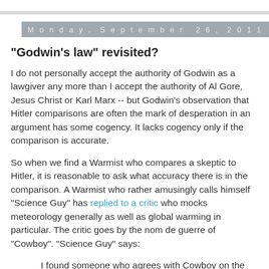Monday, September 26, 2011
"Godwin's law" revisited?
I do not personally accept the authority of Godwin as a lawgiver any more than I accept the authority of Al Gore, Jesus Christ or Karl Marx -- but Godwin's observation that Hitler comparisons are often the mark of desperation in an argument has some cogency. It lacks cogency only if the comparison is accurate.
So when we find a Warmist who compares a skeptic to Hitler, it is reasonable to ask what accuracy there is in the comparison. A Warmist who rather amusingly calls himself "Science Guy" has replied to a critic who mocks meteorology generally as well as global warming in particular. The critic goes by the nom de guerre of "Cowboy". "Science Guy" says:
I found someone who agrees with Cowboy on the weather